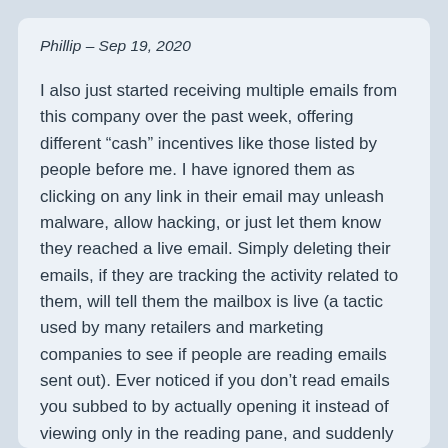Phillip – Sep 19, 2020
I also just started receiving multiple emails from this company over the past week, offering different “cash” incentives like those listed by people before me. I have ignored them as clicking on any link in their email may unleash malware, allow hacking, or just let them know they reached a live email. Simply deleting their emails, if they are tracking the activity related to them, will tell them the mailbox is live (a tactic used by many retailers and marketing companies to see if people are reading emails sent out). Ever noticed if you don’t read emails you subbed to by actually opening it instead of viewing only in the reading pane, and suddenly